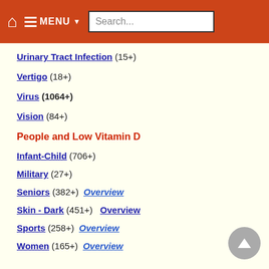Home | MENU | Search...
Urinary Tract Infection (15+)
Vertigo (18+)
Virus (1064+)
Vision (84+)
People and Low Vitamin D
Infant-Child (706+)
Military (27+)
Seniors (382+) Overview
Skin - Dark (451+) Overview
Sports (258+) Overview
Women (165+) Overview